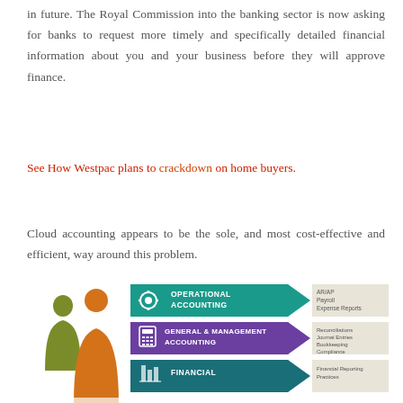in future. The Royal Commission into the banking sector is now asking for banks to request more timely and specifically detailed financial information about you and your business before they will approve finance.
See How Westpac plans to crackdown on home buyers.
Cloud accounting appears to be the sole, and most cost-effective and efficient, way around this problem.
[Figure (infographic): Infographic showing two silhouette figures (olive/orange) on the left, and three horizontal arrow-shaped banners on the right: 1) Teal arrow labeled OPERATIONAL ACCOUNTING with icons, pointing right with text AR/AP, Payroll, Expense Reports; 2) Purple arrow labeled GENERAL & MANAGEMENT ACCOUNTING with calculator icon, pointing right with text Reconciliations, Journal Entries, Bookkeeping, Compliance; 3) Dark teal arrow labeled FINANCIAL (partially visible) with an icon, with text Financial Reporting partially visible.]